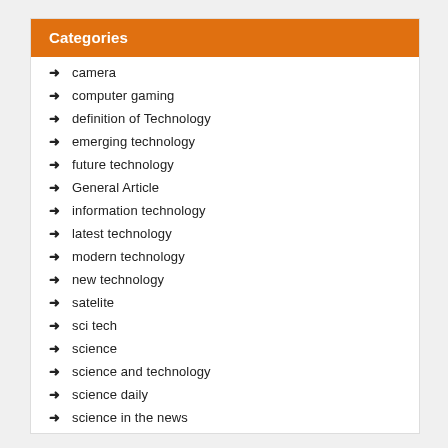Categories
camera
computer gaming
definition of Technology
emerging technology
future technology
General Article
information technology
latest technology
modern technology
new technology
satelite
sci tech
science
science and technology
science daily
science in the news